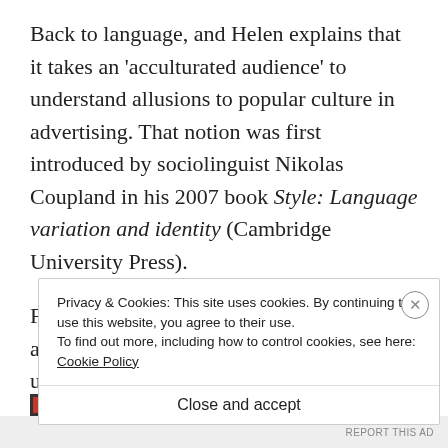Back to language, and Helen explains that it takes an 'acculturated audience' to understand allusions to popular culture in advertising. That notion was first introduced by sociolinguist Nikolas Coupland in his 2007 book Style: Language variation and identity (Cambridge University Press).
From the use of foreign languages in advertising campaigns, we move on to the use of foreign-l...
Privacy & Cookies: This site uses cookies. By continuing to use this website, you agree to their use.
To find out more, including how to control cookies, see here: Cookie Policy
Close and accept
REPORT THIS AD